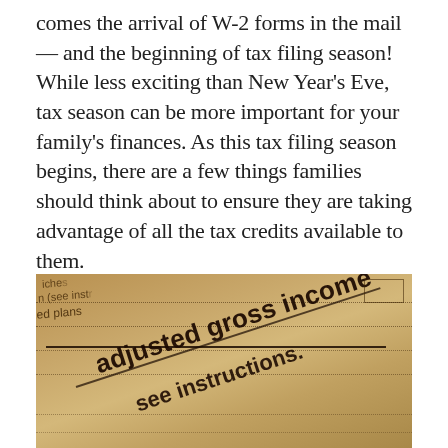comes the arrival of W-2 forms in the mail — and the beginning of tax filing season! While less exciting than New Year's Eve, tax season can be more important for your family's finances. As this tax filing season begins, there are a few things families should think about to ensure they are taking advantage of all the tax credits available to them.
[Figure (photo): Close-up photo of a tax form showing fields including 'adjusted gross income' and 'see instructions' printed in bold text on a sepia-toned form, with dotted lines visible.]